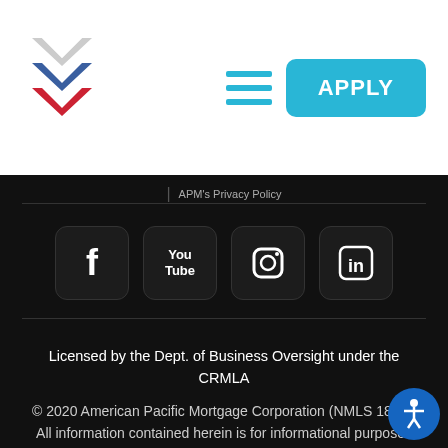[Figure (logo): American Pacific Mortgage chevron logo with red, white, and blue chevrons]
[Figure (other): Hamburger menu icon with three cyan horizontal bars]
[Figure (other): APPLY button in cyan/blue]
APM's Privacy Policy
[Figure (other): Social media icons row: Facebook, YouTube, Instagram, LinkedIn]
Licensed by the Dept. of Business Oversight under the CRMLA
© 2020 American Pacific Mortgage Corporation (NMLS 1850). All information contained herein is for informational purposes only and, while every effort has been made to